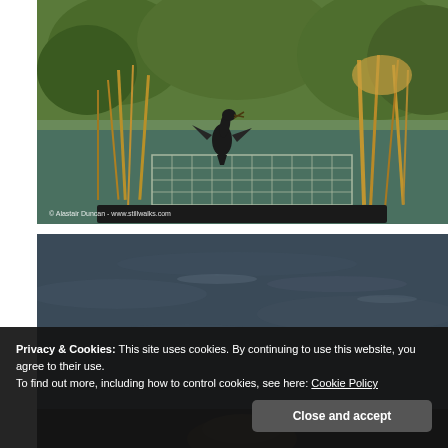[Figure (photo): A bird (cormorant) perched on a wire cage/trap structure on water, surrounded by bare reeds and green-leafed trees in the background. Watermark reads: Alastair Duncan - www.stillwalks.com]
[Figure (photo): Close-up of dark rippled water surface with a partially visible waterbird (duck or similar) at the bottom of the frame.]
Privacy & Cookies: This site uses cookies. By continuing to use this website, you agree to their use.
To find out more, including how to control cookies, see here: Cookie Policy
Close and accept